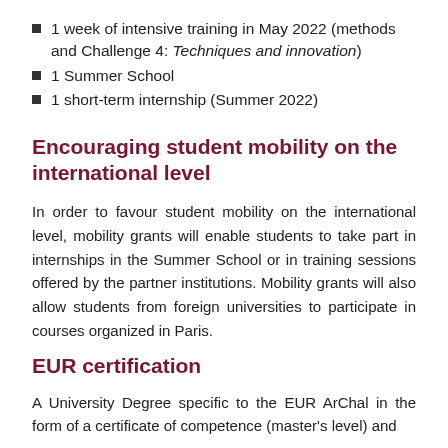1 week of intensive training in May 2022 (methods and Challenge 4: Techniques and innovation)
1 Summer School
1 short-term internship (Summer 2022)
Encouraging student mobility on the international level
In order to favour student mobility on the international level, mobility grants will enable students to take part in internships in the Summer School or in training sessions offered by the partner institutions. Mobility grants will also allow students from foreign universities to participate in courses organized in Paris.
EUR certification
A University Degree specific to the EUR ArChal in the form of a certificate of competence (master's level) and